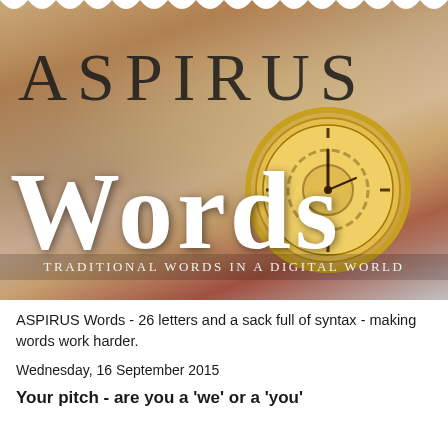[Figure (illustration): Banner image with vintage pocket watch and quill pen on aged parchment background, with 'ASPIRUS Words' text overlay and tagline 'TRADITIONAL WORDS IN A DIGITAL WORLD']
ASPIRUS Words
TRADITIONAL WORDS IN A DIGITAL WORLD
ASPIRUS Words - 26 letters and a sack full of syntax - making words work harder.
Wednesday, 16 September 2015
Your pitch - are you a 'we' or a 'you'